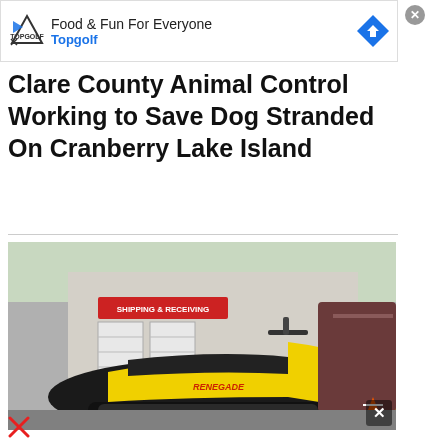[Figure (screenshot): Advertisement banner for Topgolf with logo, 'Food & Fun For Everyone' tagline, and blue navigation arrow icon]
Clare County Animal Control Working to Save Dog Stranded On Cranberry Lake Island
[Figure (photo): A black and yellow snowmobile (Ski-Doo Renegade) parked in front of a building with a 'Shipping & Receiving' sign, with a boat and orange traffic cones visible in the background]